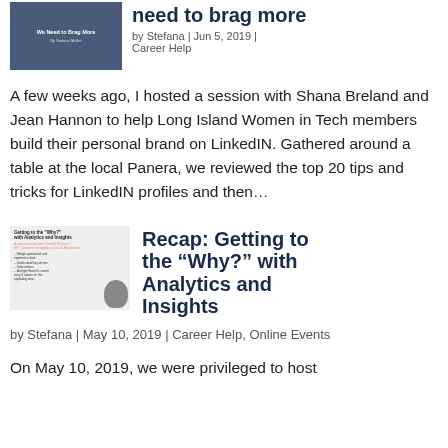[Figure (photo): Thumbnail image for article about needing to brag more, showing a dark background with text 'We Need to Brag More' and 'By Stefana Muller']
need to brag more
by Stefana | Jun 5, 2019 | Career Help
A few weeks ago, I hosted a session with Shana Breland and Jean Hannon to help Long Island Women in Tech members build their personal brand on LinkedIN. Gathered around a table at the local Panera, we reviewed the top 20 tips and tricks for LinkedIN profiles and then…
[Figure (photo): Thumbnail image for article about Getting to the Why with Analytics and Insights, showing text and a person's photo]
Recap: Getting to the “Why?” with Analytics and Insights
by Stefana | May 10, 2019 | Career Help, Online Events
On May 10, 2019, we were privileged to host